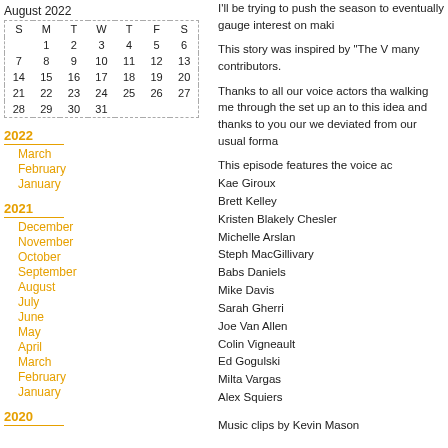| S | M | T | W | T | F | S |
| --- | --- | --- | --- | --- | --- | --- |
|  | 1 | 2 | 3 | 4 | 5 | 6 |
| 7 | 8 | 9 | 10 | 11 | 12 | 13 |
| 14 | 15 | 16 | 17 | 18 | 19 | 20 |
| 21 | 22 | 23 | 24 | 25 | 26 | 27 |
| 28 | 29 | 30 | 31 |  |  |  |
2022
March
February
January
2021
December
November
October
September
August
July
June
May
April
March
February
January
2020
I'll be trying to push the season to eventually gauge interest on maki
This story was inspired by "The V many contributors.
Thanks to all our voice actors tha walking me through the set up an to this idea and thanks to you our we deviated from our usual forma
This episode features the voice ac Kae Giroux
Brett Kelley
Kristen Blakely Chesler
Michelle Arslan
Steph MacGillivary
Babs Daniels
Mike Davis
Sarah Gherri
Joe Van Allen
Colin Vigneault
Ed Gogulski
Milta Vargas
Alex Squiers
Music clips by Kevin Mason